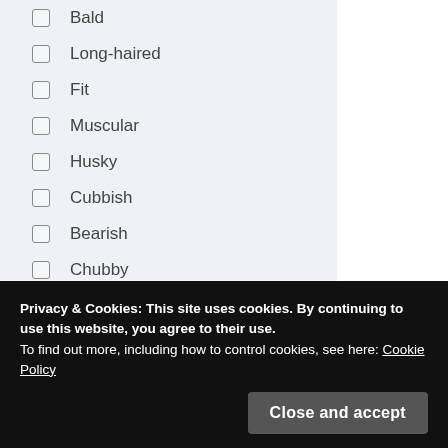Bald
Long-haired
Fit
Muscular
Husky
Cubbish
Bearish
Chubby
Daddy
Superchubby
View Results
Privacy & Cookies: This site uses cookies. By continuing to use this website, you agree to their use. To find out more, including how to control cookies, see here: Cookie Policy
Close and accept